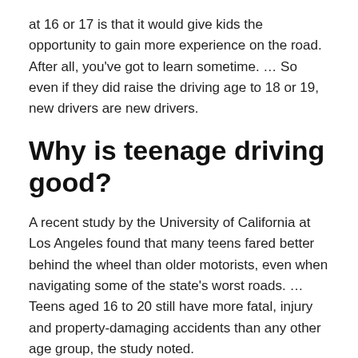at 16 or 17 is that it would give kids the opportunity to gain more experience on the road. After all, you've got to learn sometime. … So even if they did raise the driving age to 18 or 19, new drivers are new drivers.
Why is teenage driving good?
A recent study by the University of California at Los Angeles found that many teens fared better behind the wheel than older motorists, even when navigating some of the state's worst roads. … Teens aged 16 to 20 still have more fatal, injury and property-damaging accidents than any other age group, the study noted.
Is driving hard with ADHD?